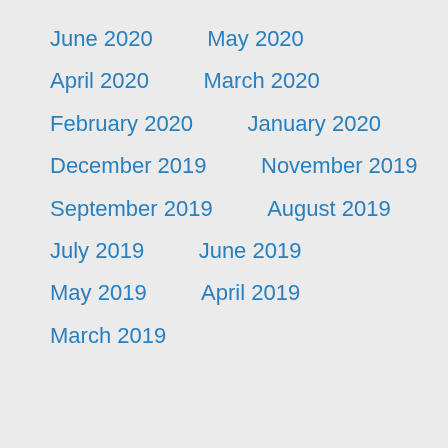June 2020
May 2020
April 2020
March 2020
February 2020
January 2020
December 2019
November 2019
September 2019
August 2019
July 2019
June 2019
May 2019
April 2019
March 2019